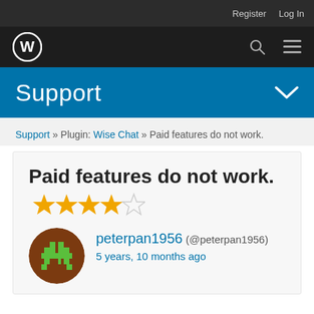Register  Log In
[Figure (logo): WordPress logo (white W in circle) in dark navigation bar with search and menu icons]
Support
Support » Plugin: Wise Chat » Paid features do not work.
Paid features do not work.
[Figure (other): 4 out of 5 stars rating in orange/yellow]
[Figure (photo): User avatar: pixelated green space invader style alien on brown circular background (peterpan1956)]
peterpan1956 (@peterpan1956)
5 years, 10 months ago